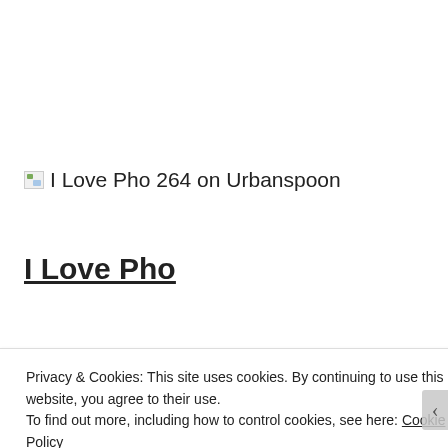[Figure (other): Broken image placeholder icon followed by text 'I Love Pho 264 on Urbanspoon' — an Urbanspoon badge/link]
I Love Pho
264 Victoria St
Privacy & Cookies: This site uses cookies. By continuing to use this website, you agree to their use.
To find out more, including how to control cookies, see here: Cookie Policy
Close and accept